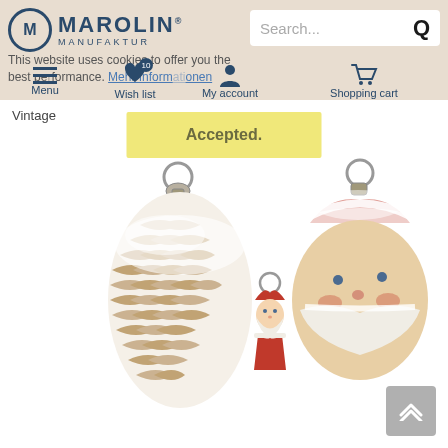[Figure (screenshot): Marolin Manufaktur e-commerce website screenshot showing header with logo, search bar, cookie consent notice, navigation icons (Menu, Wish list with badge 10, My account, Shopping cart), an 'Accepted.' cookie consent banner in yellow, breadcrumb 'Vintage', and product images of three vintage Christmas ornaments: a pine cone ornament, a small Santa Claus ornament, and a Santa Claus head ornament, all glass blown style with snow details.]
MAROLIN MANUFAKTUR
This website uses cookies to offer you the best performance. Mehr Informationen
Accepted.
Vintage